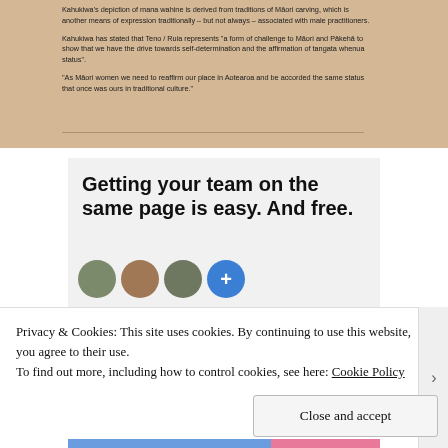[Figure (screenshot): A cropped screenshot of a webpage showing a beige/tan panel with text about Robyn Kahukiwa and mana wahine, including quotes about Māori women and self-determination.]
[Figure (screenshot): A WordPress.com advertisement showing text 'Getting your team on the same page is easy. And free.' with circular avatar images below.]
Privacy & Cookies: This site uses cookies. By continuing to use this website, you agree to their use.
To find out more, including how to control cookies, see here: Cookie Policy
Close and accept